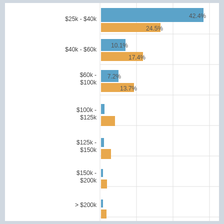[Figure (grouped-bar-chart): Income Distribution]